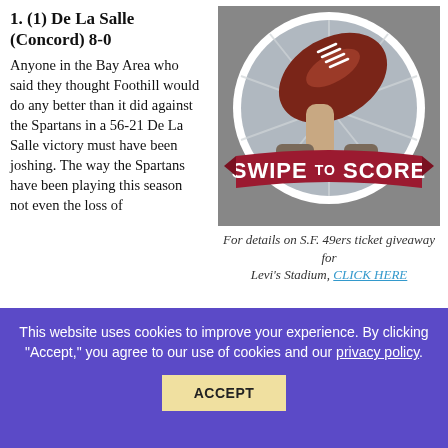1. (1) De La Salle (Concord) 8-0
Anyone in the Bay Area who said they thought Foothill would do any better than it did against the Spartans in a 56-21 De La Salle victory must have been joshing. The way the Spartans have been playing this season not even the loss of junior quarterback Anthony Sweeney in the first quarter to a shoulder injury could stop the green juggernaut from rolling up
[Figure (illustration): Circular logo with football graphic and banner reading SWIPE TO SCORE]
For details on S.F. 49ers ticket giveaway for Levi's Stadium, CLICK HERE
This website uses cookies to improve your experience. By clicking "Accept," you agree to our use of cookies and our privacy policy.